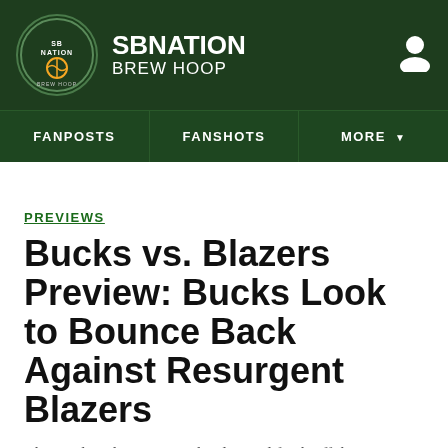SBNATION BREW HOOP
FANPOSTS | FANSHOTS | MORE
PREVIEWS
Bucks vs. Blazers Preview: Bucks Look to Bounce Back Against Resurgent Blazers
The Bucks take on a Portland squad fresh off three straight wins
By Adam Paris | Mar 21, 2017, 11:36am CDT
SHARE